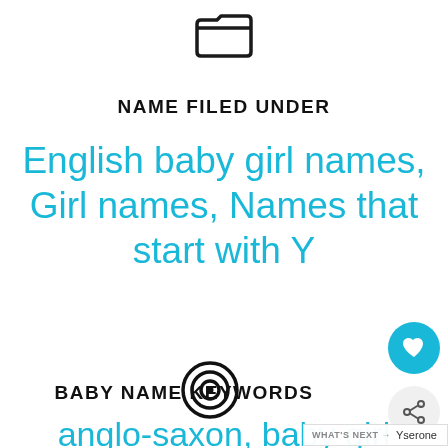[Figure (illustration): Folder open icon (line art)]
NAME FILED UNDER
English baby girl names, Girl names, Names that start with Y
[Figure (illustration): Target/bullseye icon (concentric circles)]
BABY NAME KEYWORDS
anglo-saxon, baby girl names, english, ygraine
[Figure (illustration): Heart favorite button (teal circle with heart)]
[Figure (illustration): Share button (circle with share icon)]
WHAT'S NEXT → Yserone